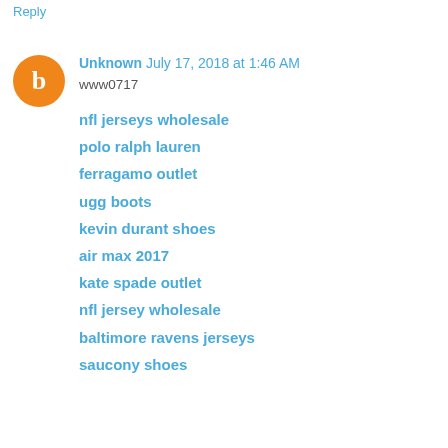Reply
[Figure (illustration): Blogger avatar icon: orange circle with white letter B]
Unknown July 17, 2018 at 1:46 AM
www0717
nfl jerseys wholesale
polo ralph lauren
ferragamo outlet
ugg boots
kevin durant shoes
air max 2017
kate spade outlet
nfl jersey wholesale
baltimore ravens jerseys
saucony shoes